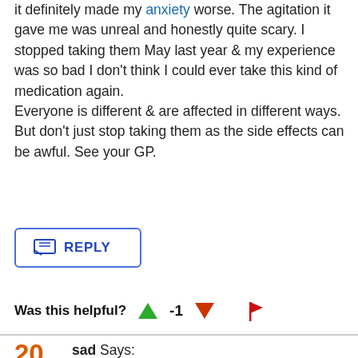it definitely made my anxiety worse. The agitation it gave me was unreal and honestly quite scary. I stopped taking them May last year & my experience was so bad I don't think I could ever take this kind of medication again.
Everyone is different & are affected in different ways. But don't just stop taking them as the side effects can be awful. See your GP.
[Figure (other): Reply button with chat icon and REPLY text]
Was this helpful? -1
20 sad Says: Tue, November 24, 2015
I am on mirtazapine 30mg and also valdoxon 25mg at night for the last 2 months, I feel extremely